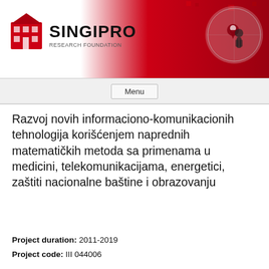[Figure (logo): SINGIPRO organization logo with red geometric building icon on left and globe/map graphic on right side of banner]
Menu
Razvoj novih informaciono-komunikacionih tehnologija korišćenjem naprednih matematičkih metoda sa primenama u medicini, telekomunikacijama, energetici, zaštiti nacionalne baštine i obrazovanju
Project duration: 2011-2019
Project code: III 044006